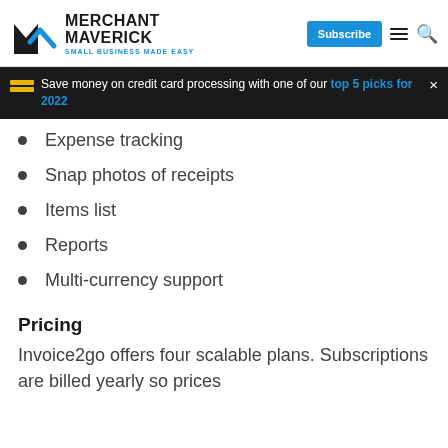MERCHANT MAVERICK — SMALL BUSINESS MADE EASY
Save money on credit card processing with one of our top 5 picks for 2022
Expense tracking
Snap photos of receipts
Items list
Reports
Multi-currency support
Pricing
Invoice2go offers four scalable plans. Subscriptions are billed yearly so prices